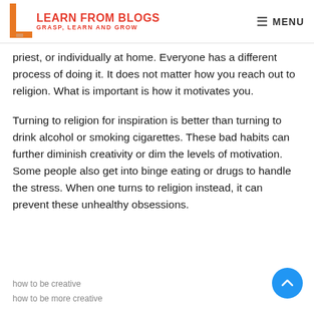LEARN FROM BLOGS — GRASP, LEARN AND GROW | MENU
priest, or individually at home. Everyone has a different process of doing it. It does not matter how you reach out to religion. What is important is how it motivates you.
Turning to religion for inspiration is better than turning to drink alcohol or smoking cigarettes. These bad habits can further diminish creativity or dim the levels of motivation. Some people also get into binge eating or drugs to handle the stress. When one turns to religion instead, it can prevent these unhealthy obsessions.
how to be creative
how to be more creative